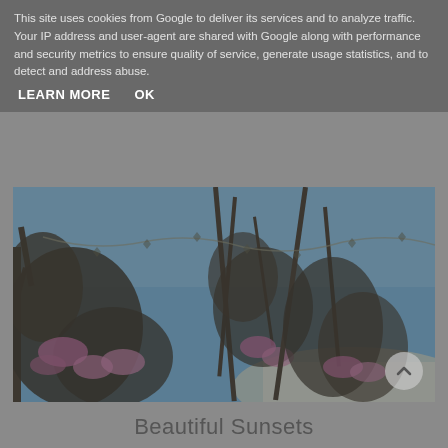This site uses cookies from Google to deliver its services and to analyze traffic. Your IP address and user-agent are shared with Google along with performance and security metrics to ensure quality of service, generate usage statistics, and to detect and address abuse.
LEARN MORE    OK
[Figure (photo): Outdoor photo showing flowering shrubs with pink/purple blooms and dark branches against a blue sky, with a sandy or snowy white ground area visible in the lower right. The image has a semi-transparent grey overlay from the cookie consent banner.]
Beautiful Sunsets